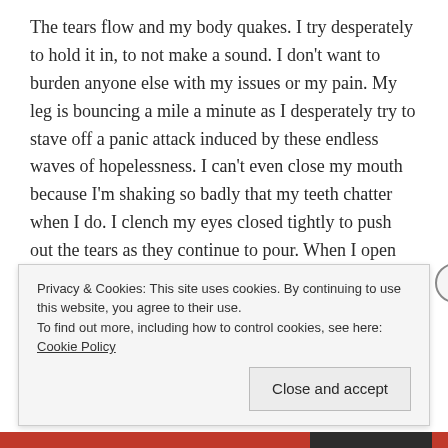The tears flow and my body quakes.  I try desperately to hold it in, to not make a sound.  I don't want to burden anyone else with my issues or my pain.  My leg is bouncing a mile a minute as I desperately try to stave off a panic attack induced by these endless waves of hopelessness.  I can't even close my mouth because I'm shaking so badly that my teeth chatter when I do.  I clench my eyes closed tightly to push out the tears as they continue to pour.  When I open my eyes, I see the world through the blur of watery dots.
Again and again I blow my nose.  I have no idea how I
Privacy & Cookies: This site uses cookies. By continuing to use this website, you agree to their use.
To find out more, including how to control cookies, see here: Cookie Policy
Close and accept